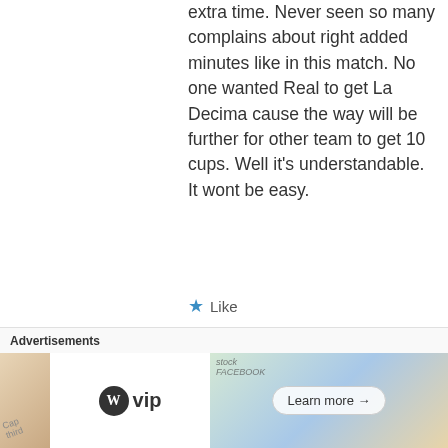extra time. Never seen so many complains about right added minutes like in this match. No one wanted Real to get La Decima cause the way will be further for other team to get 10 cups. Well it's understandable. It wont be easy.
★ Like
Reply
Advertisements
[Figure (other): WordPress VIP advertisement banner with logo and Learn more button]